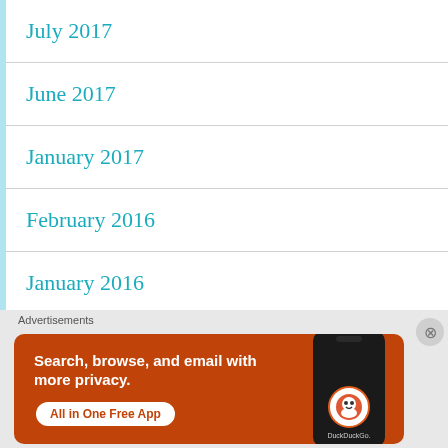July 2017
June 2017
January 2017
February 2016
January 2016
December 2015
Advertisements
[Figure (other): DuckDuckGo advertisement banner: orange background with text 'Search, browse, and email with more privacy. All in One Free App' and a phone image with DuckDuckGo logo]